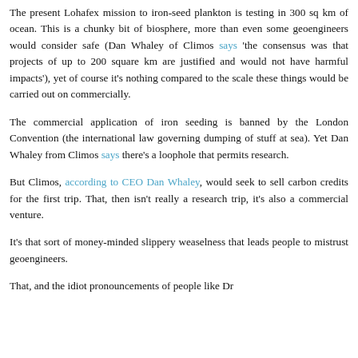The present Lohafex mission to iron-seed plankton is testing in 300 sq km of ocean. This is a chunky bit of biosphere, more than even some geoengineers would consider safe (Dan Whaley of Climos says 'the consensus was that projects of up to 200 square km are justified and would not have harmful impacts'), yet of course it's nothing compared to the scale these things would be carried out on commercially.
The commercial application of iron seeding is banned by the London Convention (the international law governing dumping of stuff at sea). Yet Dan Whaley from Climos says there's a loophole that permits research.
But Climos, according to CEO Dan Whaley, would seek to sell carbon credits for the first trip. That, then isn't really a research trip, it's also a commercial venture.
It's that sort of money-minded slippery weaselness that leads people to mistrust geoengineers.
That, and the idiot pronouncements of people like Dr